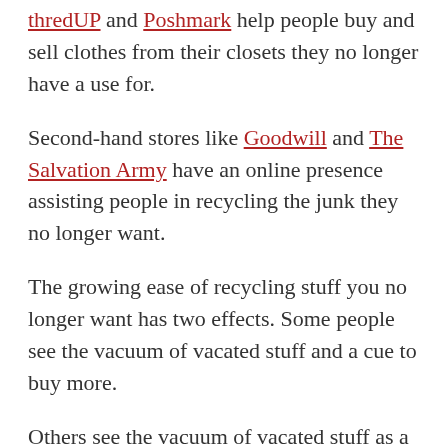thredUP and Poshmark help people buy and sell clothes from their closets they no longer have a use for.
Second-hand stores like Goodwill and The Salvation Army have an online presence assisting people in recycling the junk they no longer want.
The growing ease of recycling stuff you no longer want has two effects. Some people see the vacuum of vacated stuff and a cue to buy more.
Others see the vacuum of vacated stuff as a relief and vow to enjoy it. Americans are quickly